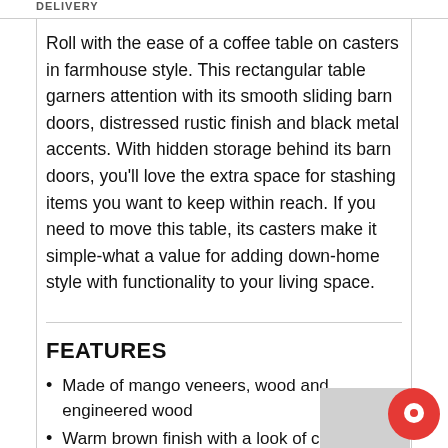DELIVERY
Roll with the ease of a coffee table on casters in farmhouse style. This rectangular table garners attention with its smooth sliding barn doors, distressed rustic finish and black metal accents. With hidden storage behind its barn doors, you'll love the extra space for stashing items you want to keep within reach. If you need to move this table, its casters make it simple-what a value for adding down-home style with functionality to your living space.
FEATURES
Made of mango veneers, wood and engineered wood
Warm brown finish with a look of century's